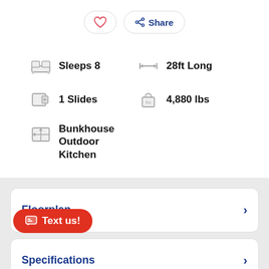[Figure (screenshot): Heart (favorite) button and Share button in pill-shaped outlines at the top of the page]
Sleeps 8
28ft Long
1 Slides
4,880 lbs
Bunkhouse Outdoor Kitchen
Floorplan
Specifications
Text us!